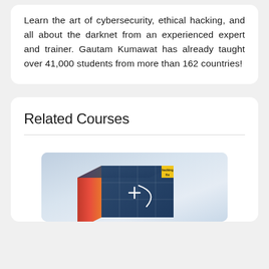Learn the art of cybersecurity, ethical hacking, and all about the darknet from an experienced expert and trainer. Gautam Kumawat has already taught over 41,000 students from more than 162 countries!
Related Courses
[Figure (illustration): A 3D box product illustration with a dark blue front, red and orange left side, and a yellow badge with 'hackingfix' text, on a light gradient background.]